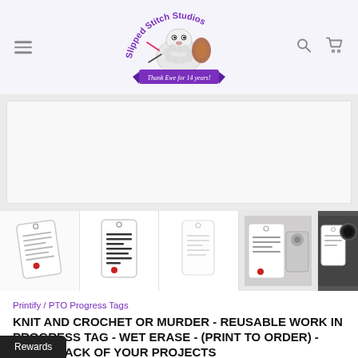[Figure (logo): Slipped Stitch Studios logo: cartoon sheep with knitting supplies, purple text arch 'Slipped Stitch Studios', purple banner reading 'Thank Ewe for 14 years!']
[Figure (photo): Main product image placeholder - light gray area showing product photos of knitting progress tags]
[Figure (photo): Thumbnail strip with 5 product photos of the Knit and Crochet or Murder reusable work in progress tags]
Printify / PTO Progress Tags
KNIT AND CROCHET OR MURDER - REUSABLE WORK IN PROGRESS TAG - WET ERASE - (PRINT TO ORDER) - KEEP TRACK OF YOUR PROJECTS